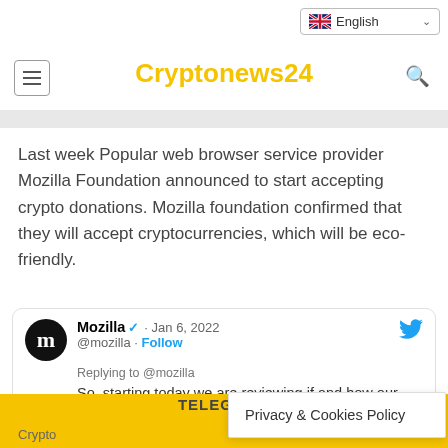Cryptonews24
Last week Popular web browser service provider Mozilla Foundation announced to start accepting crypto donations. Mozilla foundation confirmed that they will accept cryptocurrencies, which will be eco-friendly.
[Figure (screenshot): Embedded tweet from Mozilla (@mozilla), dated Jan 6, 2022, with verified badge and Follow button. Tweet text: 'So, starting today we are reviewing if and how our current policy on crypto donations fits with our climate goals. And as we'. Reply to @mozilla shown below the handle.]
TELEGRAM  Crypto  Privacy & Cookies Policy